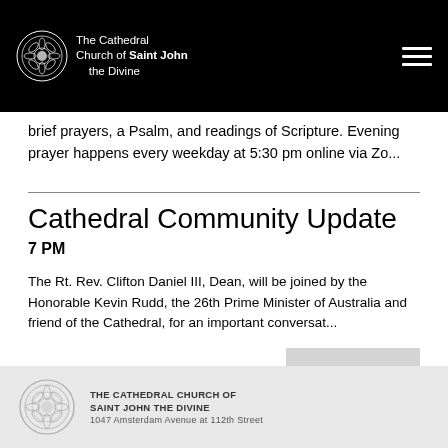The Cathedral Church of Saint John the Divine
brief prayers, a Psalm, and readings of Scripture. Evening prayer happens every weekday at 5:30 pm online via Zo...
Cathedral Community Update
7 PM
The Rt. Rev. Clifton Daniel III, Dean, will be joined by the Honorable Kevin Rudd, the 26th Prime Minister of Australia and friend of the Cathedral, for an important conversat...
THE CATHEDRAL CHURCH OF SAINT JOHN THE DIVINE
1047 Amsterdam Avenue at 112th Street